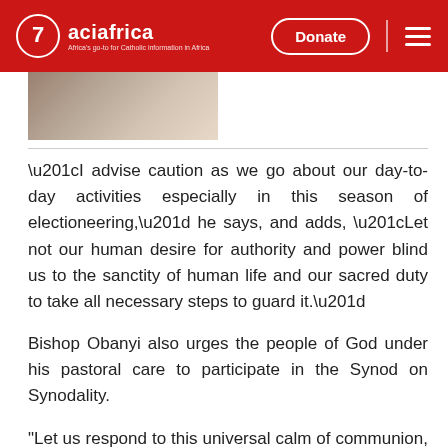aciafrica | Donate
[Figure (photo): Partial image of a person at the top of the article, cropped]
“I advise caution as we go about our day-to-day activities especially in this season of electioneering,” he says, and adds, “Let not our human desire for authority and power blind us to the sanctity of human life and our sacred duty to take all necessary steps to guard it.”
Bishop Obanyi also urges the people of God under his pastoral care to participate in the Synod on Synodality.
"Let us respond to this universal calm of communion, participation and mission," he says in reference to the theme of the ongoing preparations for the Synod on